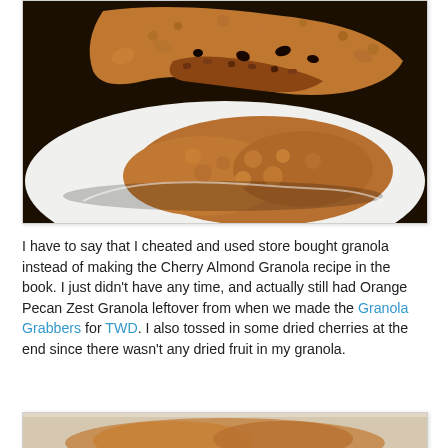[Figure (photo): Close-up photo of granola cookies on a white plate, one cookie broken in half showing the interior texture with dark chocolate chips and granola bits]
I have to say that I cheated and used store bought granola instead of making the Cherry Almond Granola recipe in the book. I just didn't have any time, and actually still had Orange Pecan Zest Granola leftover from when we made the Granola Grabbers for TWD. I also tossed in some dried cherries at the end since there wasn't any dried fruit in my granola.
[Figure (photo): Partial view of another photo of granola cookies at the bottom of the page]